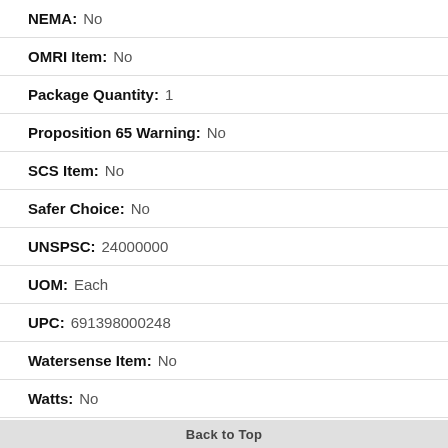NEMA: No
OMRI Item: No
Package Quantity: 1
Proposition 65 Warning: No
SCS Item: No
Safer Choice: No
UNSPSC: 24000000
UOM: Each
UPC: 691398000248
Watersense Item: No
Watts: No
Weight: 0.211000
Back to Top